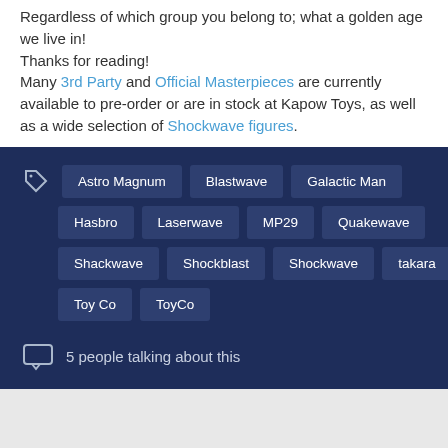Regardless of which group you belong to; what a golden age we live in!
Thanks for reading!
Many 3rd Party and Official Masterpieces are currently available to pre-order or are in stock at Kapow Toys, as well as a wide selection of Shockwave figures.
Astro Magnum
Blastwave
Galactic Man
Hasbro
Laserwave
MP29
Quakewave
Shackwave
Shockblast
Shockwave
takara
Toy Co
ToyCo
5 people talking about this